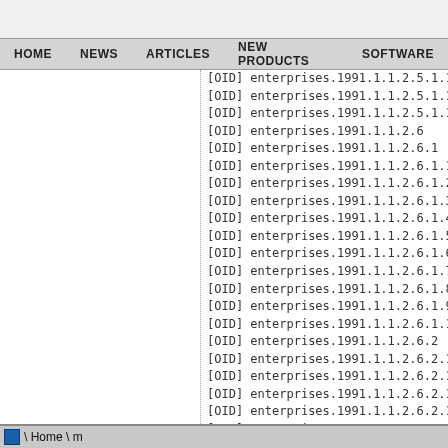HOME  NEWS  ARTICLES  NEW PRODUCTS  SOFTWARE
[OID] enterprises.1991.1.1.2.5.1.1
[OID] enterprises.1991.1.1.2.5.1.1
[OID] enterprises.1991.1.1.2.5.1.1
[OID] enterprises.1991.1.1.2.6
[OID] enterprises.1991.1.1.2.6.1
[OID] enterprises.1991.1.1.2.6.1.1
[OID] enterprises.1991.1.1.2.6.1.2
[OID] enterprises.1991.1.1.2.6.1.3
[OID] enterprises.1991.1.1.2.6.1.4
[OID] enterprises.1991.1.1.2.6.1.5
[OID] enterprises.1991.1.1.2.6.1.6
[OID] enterprises.1991.1.1.2.6.1.7
[OID] enterprises.1991.1.1.2.6.1.8
[OID] enterprises.1991.1.1.2.6.1.9
[OID] enterprises.1991.1.1.2.6.1.1
[OID] enterprises.1991.1.1.2.6.2
[OID] enterprises.1991.1.1.2.6.2.1
[OID] enterprises.1991.1.1.2.6.2.1
[OID] enterprises.1991.1.1.2.6.2.1
[OID] enterprises.1991.1.1.2.6.2.1
[OID] enterprises.1991.1.1.2.6.2.1
[OID] enterprises.1991.1.1.2.6.2.1
[OID] enterprises.1991.1.1.2.6.3
[OID] enterprises.1991.1.1.2.6.3.1
[OID] enterprises.1991.1.1.2.6.3.1
[OID] enterprises.1991.1.1.2.6.3.1
\ Home \ m